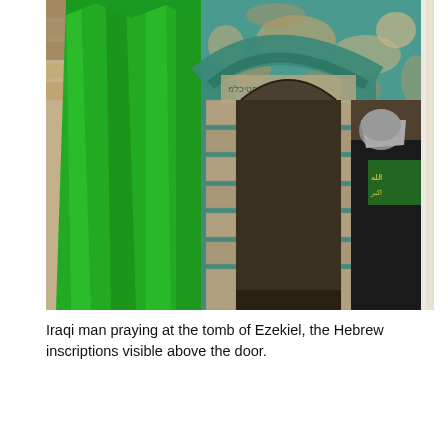[Figure (photo): Iraqi man praying at the entrance of the tomb of Ezekiel. A bright green satin curtain hangs on the left side. The doorway is framed with a teal/green painted stone arch. Above the door arch, Hebrew inscriptions are visible on the weathered stone wall with peeling paint. A person dressed in black with a headscarf stands at the doorway, facing inside. Inside, a green banner with Arabic calligraphy is visible on a dark wooden structure.]
Iraqi man praying at the tomb of Ezekiel, the Hebrew inscriptions visible above the door.